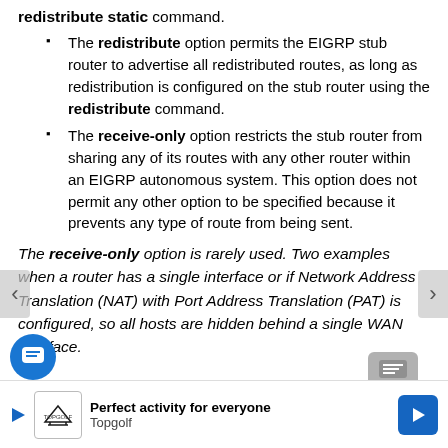redistribute static command.
The redistribute option permits the EIGRP stub router to advertise all redistributed routes, as long as redistribution is configured on the stub router using the redistribute command.
The receive-only option restricts the stub router from sharing any of its routes with any other router within an EIGRP autonomous system. This option does not permit any other option to be specified because it prevents any type of route from being sent.
The receive-only option is rarely used. Two examples when a router has a single interface or if Network Address Translation (NAT) with Port Address Translation (PAT) is configured, so all hosts are hidden behind a single WAN interface.
[Figure (other): Advertisement banner for Topgolf: 'Perfect activity for everyone' with Topgolf logo and a blue navigation arrow icon]